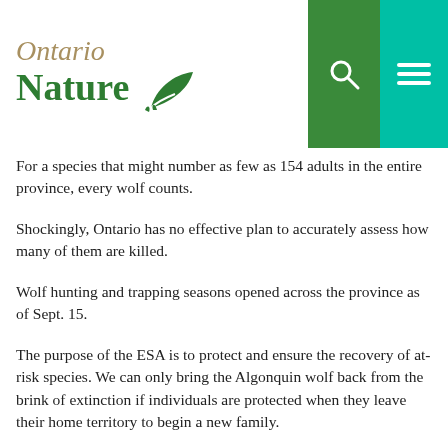Ontario Nature
For a species that might number as few as 154 adults in the entire province, every wolf counts.
Shockingly, Ontario has no effective plan to accurately assess how many of them are killed.
Wolf hunting and trapping seasons opened across the province as of Sept. 15.
The purpose of the ESA is to protect and ensure the recovery of at-risk species. We can only bring the Algonquin wolf back from the brink of extinction if individuals are protected when they leave their home territory to begin a new family.
As the saying goes, a wolf is only as strong as its pack. Unfortunately for Algonquin wolves, that